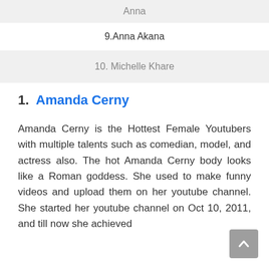Anna Akana (item partially above, gray bar at top, text clipped)
9.Anna Akana
10. Michelle Khare
1.  Amanda Cerny
Amanda Cerny is the Hottest Female Youtubers with multiple talents such as comedian, model, and actress also. The hot Amanda Cerny body looks like a Roman goddess. She used to make funny videos and upload them on her youtube channel. She started her youtube channel on Oct 10, 2011, and till now she achieved